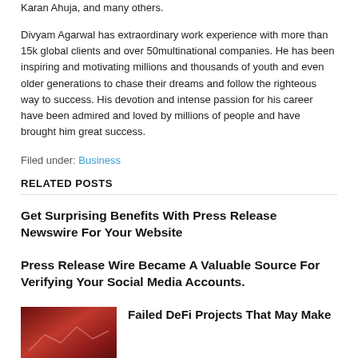Karan Ahuja, and many others.
Divyam Agarwal has extraordinary work experience with more than 15k global clients and over 50multinational companies. He has been inspiring and motivating millions and thousands of youth and even older generations to chase their dreams and follow the righteous way to success. His devotion and intense passion for his career have been admired and loved by millions of people and have brought him great success.
Filed under: Business
RELATED POSTS
Get Surprising Benefits With Press Release Newswire For Your Website
Press Release Wire Became A Valuable Source For Verifying Your Social Media Accounts.
Failed DeFi Projects That May Make